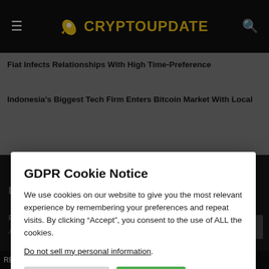CRYPTOUPDATE
Fiat Infects Relationships With High Time-Preference
Indonesia's Biggest Tech Firm Enters Bitcoin Market With Local
GDPR Cookie Notice
We use cookies on our website to give you the most relevant experience by remembering your preferences and repeat visits. By clicking “Accept”, you consent to the use of ALL the cookies.
Do not sell my personal information.
Cookie Settings
Accept
LEGAL
Privacy Policy
REL) $0.78 ↑ 0.38%    DSLA Protocol(DSLA) $0.003677 ↓ -7.02%